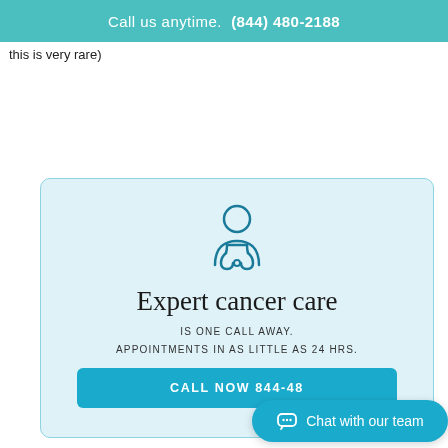Call us anytime.  (844) 480-2188
this is very rare)
[Figure (illustration): Doctor icon outline in teal, showing a person with a stethoscope]
Expert cancer care
IS ONE CALL AWAY.
APPOINTMENTS IN AS LITTLE AS 24 HRS.
CALL NOW 844-48
Chat with our team